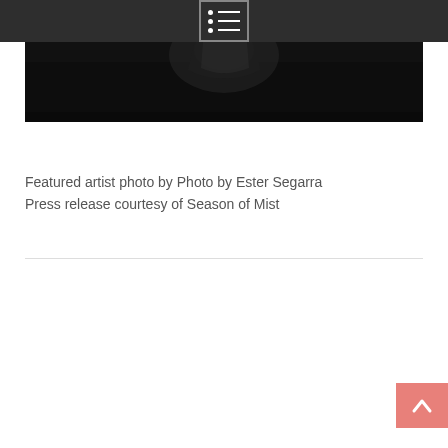[Figure (photo): Dark photograph showing hands against a black background, partial image visible at top of page]
Featured artist photo by Photo by Ester Segarra
Press release courtesy of Season of Mist